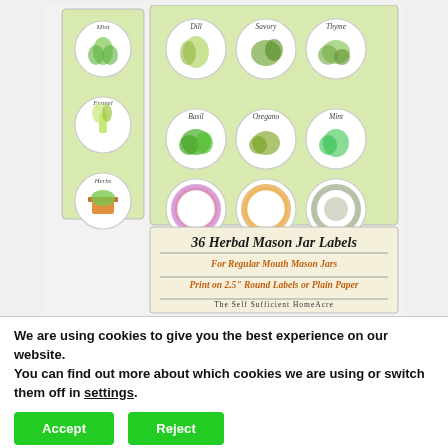[Figure (illustration): Product illustration showing '36 Herbal Mason Jar Labels' printable label sheets with circular herb labels arranged in a grid pattern on light green background cards. Labels show various herbs with botanical illustrations. Text reads: '36 Herbal Mason Jar Labels / For Regular Mouth Mason Jars / Print on 2.5" Round Labels or Plain Paper / The Self Sufficient HomeAcre']
We are using cookies to give you the best experience on our website.
You can find out more about which cookies we are using or switch them off in settings.
Accept
Reject